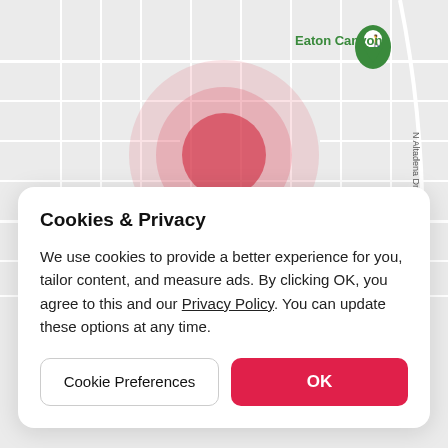[Figure (map): Street map showing Eaton Canyon area, Pasadena/Altadena, CA. Shows streets including New York Dr, E Washington Blvd, N Altadena Dr. Neighborhood label BRIGDEN RANCH visible. A red radial circle (location pin indicator) is centered in the upper portion of the map. Green map pin icon for Eaton Canyon in top right.]
Cookies & Privacy
We use cookies to provide a better experience for you, tailor content, and measure ads. By clicking OK, you agree to this and our Privacy Policy. You can update these options at any time.
Cookie Preferences
OK